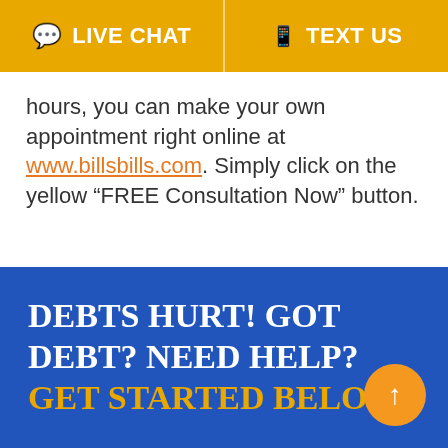LIVE CHAT | TEXT US
hours, you can make your own appointment right online at www.billsbills.com. Simply click on the yellow “FREE Consultation Now” button.
DEBTS HURT! GOT DEBT? NEED HELP? GET STARTED BELOW!